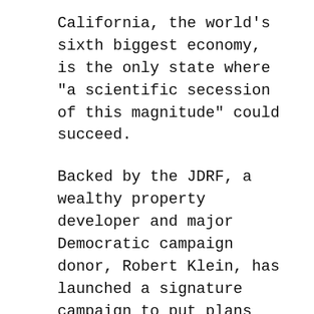California, the world's sixth biggest economy, is the only state where "a scientific secession of this magnitude" could succeed.
Backed by the JDRF, a wealthy property developer and major Democratic campaign donor, Robert Klein, has launched a signature campaign to put plans for a US$3 billion bond issue on November's ballot paper. Also involved are Douglas Wick, a producer of "Gladiator", Jerry Zucker, director of "Ghost", and his wife Janet, a producer. The campaign has the support of several top scientists, including